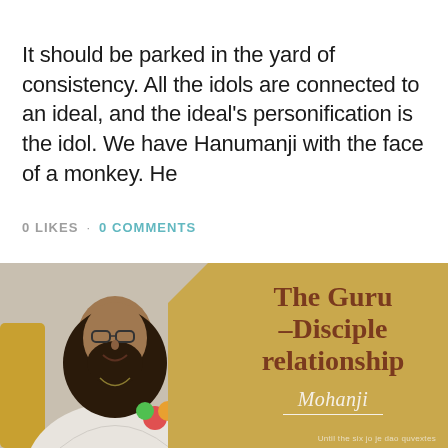It should be parked in the yard of consistency. All the idols are connected to an ideal, and the ideal's personification is the idol. We have Hanumanji with the face of a monkey. He
0 LIKES · 0 COMMENTS
[Figure (photo): Photo of Mohanji, a bearded spiritual teacher with long hair, wearing white robes, smiling, seated. Overlaid with a gold/amber background panel containing the text 'The Guru –Disciple relationship' and a signature 'Mohanji'.]